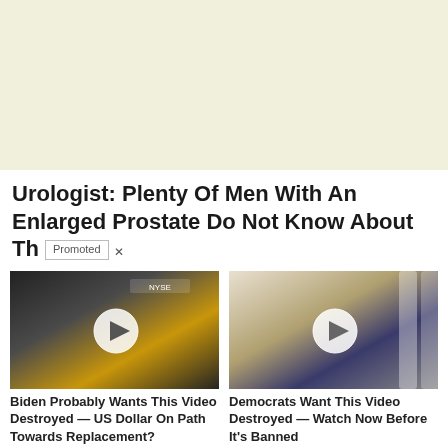[Figure (other): Light yellow-green advertisement banner area]
Urologist: Plenty Of Men With An Enlarged Prostate Do Not Know About Th
Promoted ×
[Figure (photo): Video thumbnail showing a man being interviewed in front of a NYSE trading floor background with a play button overlay]
[Figure (photo): Video thumbnail showing politicians walking with masks on in what appears to be a government building with a play button overlay]
Biden Probably Wants This Video Destroyed — US Dollar On Path Towards Replacement?
🔥 68,415
Democrats Want This Video Destroyed — Watch Now Before It's Banned
🔥 201,279